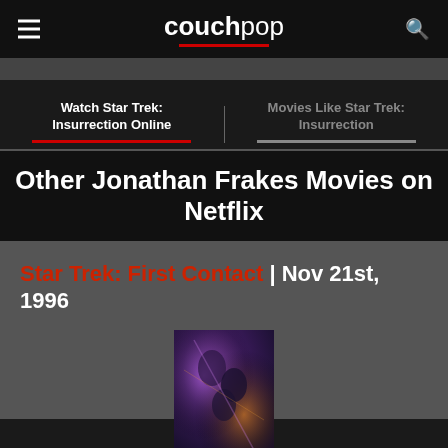couchpop
Watch Star Trek: Insurrection Online
Movies Like Star Trek: Insurrection
Other Jonathan Frakes Movies on Netflix
Star Trek: First Contact | Nov 21st, 1996
[Figure (photo): Movie poster for Star Trek: First Contact showing dramatic science fiction imagery with purple and orange lighting, featuring character faces]